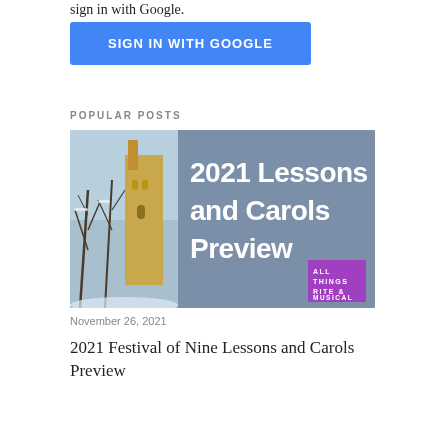sign in with Google.
[Figure (other): Blue 'SIGN IN WITH GOOGLE' button]
POPULAR POSTS
[Figure (illustration): Blog post thumbnail image showing a snowy church with blue-grey background and white bold text '2021 Lessons and Carols Preview', with a purple badge reading 'ALL THINGS RITE & MUSICAL']
November 26, 2021
2021 Festival of Nine Lessons and Carols Preview